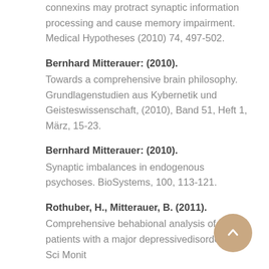connexins may protract synaptic information processing and cause memory impairment. Medical Hypotheses (2010) 74, 497-502.
Bernhard Mitterauer: (2010). Towards a comprehensive brain philosophy. Grundlagenstudien aus Kybernetik und Geisteswissenschaft, (2010), Band 51, Heft 1, März, 15-23.
Bernhard Mitterauer: (2010). Synaptic imbalances in endogenous psychoses. BioSystems, 100, 113-121.
Rothuber, H., Mitterauer, B. (2011). Comprehensive behabional analysis of patients with a major depressivedisorder. Med Sci Monit